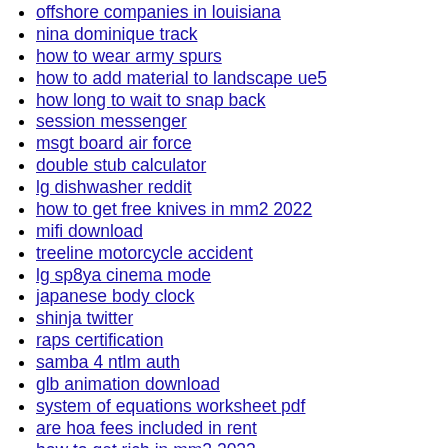offshore companies in louisiana
nina dominique track
how to wear army spurs
how to add material to landscape ue5
how long to wait to snap back
session messenger
msgt board air force
double stub calculator
lg dishwasher reddit
how to get free knives in mm2 2022
mifi download
treeline motorcycle accident
lg sp8ya cinema mode
japanese body clock
shinja twitter
raps certification
samba 4 ntlm auth
glb animation download
system of equations worksheet pdf
are hoa fees included in rent
how to get rich in mm2 2022
man hit by train sacramento ca
elegant fuel owner
elite crypto signals discord
norfolk county clerk of court public records